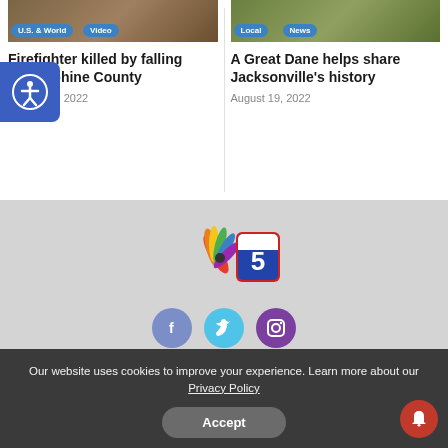[Figure (screenshot): Thumbnail image for firefighter article with U.S. & World and Video tags]
[Figure (screenshot): Thumbnail image for Great Dane article with Local and News tags]
Firefighter killed by falling n Josephine County
August 19, 2022
A Great Dane helps share Jacksonville's history
August 19, 2022
[Figure (logo): NBC 5 logo with peacock feathers and interstate shield]
[Figure (infographic): Social media icons: Facebook, Twitter, Instagram]
Home   About   Contact Us   Privacy Policy
Our website uses cookies to improve your experience. Learn more about our Privacy Policy
Accept